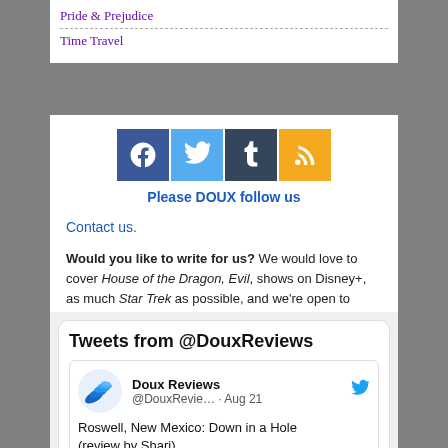Pride & Prejudice
Time Travel
[Figure (infographic): Social media icons for Facebook, Twitter, Tumblr, and RSS feed]
Please DOUX follow us
Contact us.
Would you like to write for us? We would love to cover House of the Dragon, Evil, shows on Disney+, as much Star Trek as possible, and we're open to suggestions. Apply here!
[Figure (screenshot): Tweets from @DouxReviews widget showing Doux Reviews account tweet: Roswell, New Mexico: Down in a Hole (review by Shari)]